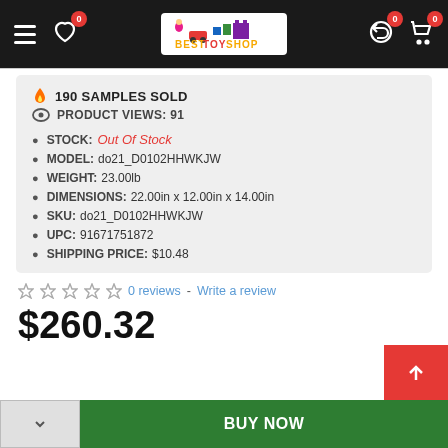Best Toy Shop - navigation header
🔥 190 SAMPLES SOLD
👁 PRODUCT VIEWS: 91
STOCK: Out Of Stock
MODEL: do21_D0102HHWKJW
WEIGHT: 23.00lb
DIMENSIONS: 22.00in x 12.00in x 14.00in
SKU: do21_D0102HHWKJW
UPC: 91671751872
SHIPPING PRICE: $10.48
☆☆☆☆☆ 0 reviews - Write a review
$260.32
BUY NOW